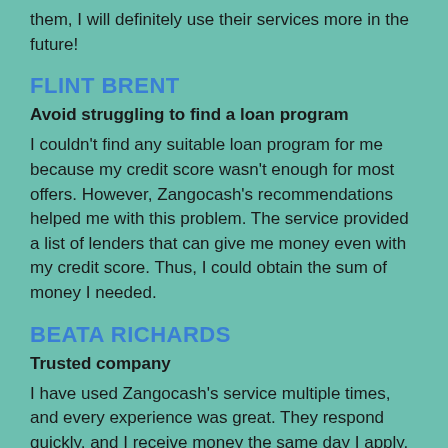them, I will definitely use their services more in the future!
FLINT BRENT
Avoid struggling to find a loan program
I couldn't find any suitable loan program for me because my credit score wasn't enough for most offers. However, Zangocash's recommendations helped me with this problem. The service provided a list of lenders that can give me money even with my credit score. Thus, I could obtain the sum of money I needed.
BEATA RICHARDS
Trusted company
I have used Zangocash's service multiple times, and every experience was great. They respond quickly, and I receive money the same day I apply. I'm glad I found this company, they have helped me a lot.